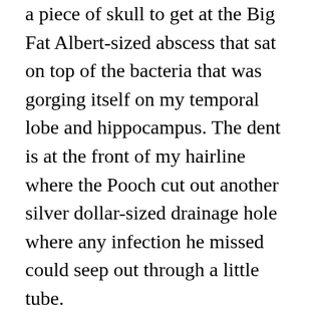a piece of skull to get at the Big Fat Albert-sized abscess that sat on top of the bacteria that was gorging itself on my temporal lobe and hippocampus. The dent is at the front of my hairline where the Pooch cut out another silver dollar-sized drainage hole where any infection he missed could seep out through a little tube.

I know, I know, it's pretty graphic stuff, but I'm trying to keep it PG-13. The actual craniotomy would be the NC-17